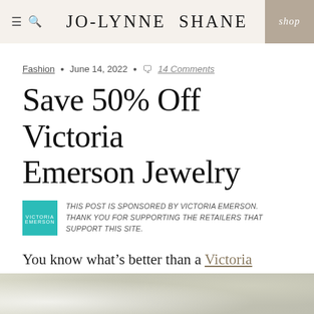JO-LYNNE SHANE  shop
Fashion • June 14, 2022 • 14 Comments
Save 50% Off Victoria Emerson Jewelry
THIS POST IS SPONSORED BY VICTORIA EMERSON. THANK YOU FOR SUPPORTING THE RETAILERS THAT SUPPORT THIS SITE.
You know what's better than a Victoria Emerson sale? A Victoria Emerson discount code that is good for the entire month of June!
[Figure (photo): Blurred bokeh background image at the bottom of the page, light green/grey tones]